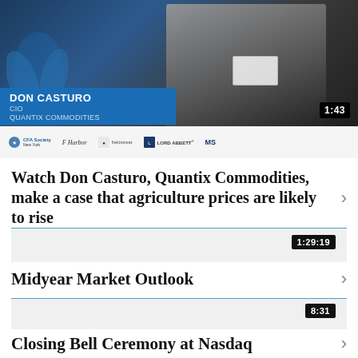[Figure (screenshot): Video thumbnail showing Don Casturo, CIO of Quantix Commodities, with blue name banner and sponsor logos bar at bottom showing CFA Society New York, Harbor, Fieldstreet, Lord Abbett, MS; duration badge shows 1:43]
Watch Don Casturo, Quantix Commodities, make a case that agriculture prices are likely to rise
[Figure (screenshot): Video thumbnail placeholder with duration badge 1:29:19]
Midyear Market Outlook
[Figure (screenshot): Video thumbnail placeholder with duration badge 8:31]
Closing Bell Ceremony at Nasdaq